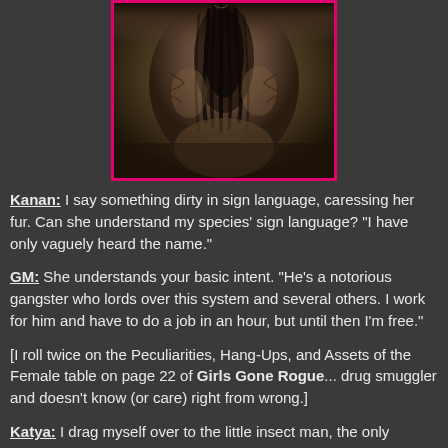[Figure (photo): Close-up photo of an alien creature face with dark, wrinkled, cephalopod-like features, framed with a pink/magenta border]
Kanan:  I say something dirty in sign language, caressing her fur.  Can she understand my species' sign language?  "I have only vaguely heard the name."
GM:  She understands your basic intent.  "He's a notorious gangster who lords over this system and several others.  I work for him and have to do a job in an hour, but until then I'm free."
[I roll twice on the Peculiarities, Hang-Ups, and Assets of the Female table on page 22 of Girls Gone Rogue... drug smuggler and doesn't know (or care) right from wrong.]
Katya:  I drag myself over to the little insect man, the only